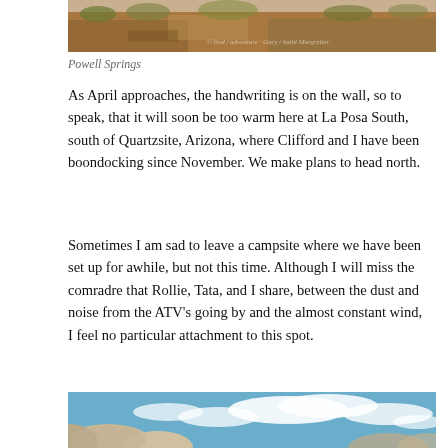[Figure (photo): Top portion of a photo showing outdoor landscape, possibly Powell Springs area with earth/dirt ground and some vegetation.]
Powell Springs
As April approaches, the handwriting is on the wall, so to speak, that it will soon be too warm here at La Posa South, south of Quartzsite, Arizona, where Clifford and I have been boondocking since November. We make plans to head north.
Sometimes I am sad to leave a campsite where we have been set up for awhile, but not this time. Although I will miss the comradre that Rollie, Tata, and I share, between the dust and noise from the ATV's going by and the almost constant wind,  I feel no particular attachment to this spot.
[Figure (photo): Bottom photo showing rocks or boulders against a blue sky with white clouds.]